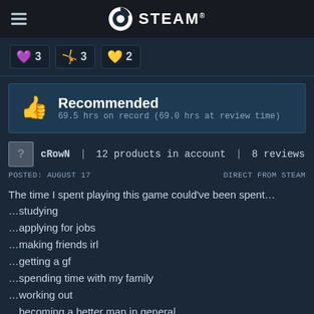STEAM
3  3  2
Recommended — 69.5 hrs on record (69.0 hrs at review time)
cRowN | 12 products in account | 8 reviews
POSTED: AUGUST 17   DIRECT FROM STEAM
The time I spent playing this game could've been spent... ...studying ...applying for jobs ...making friends irl ...getting a gf ...spending time with my family ...working out ...becoming a better man in general
For the time I spent in this game, at least I...